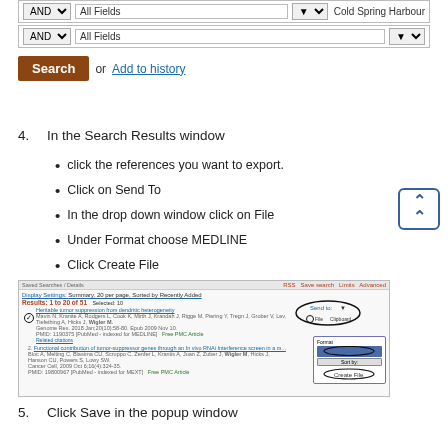[Figure (screenshot): PubMed search form showing two AND/All Fields rows with a Search button and Add to history link]
4.   In the Search Results window
click the references you want to export.
Click on Send To
In the drop down window click on File
Under Format choose MEDLINE
Click Create File
[Figure (screenshot): PubMed search results page showing references, Send To option selected, File format chosen as MEDLINE, and Create File button circled]
5.   Click Save in the popup window